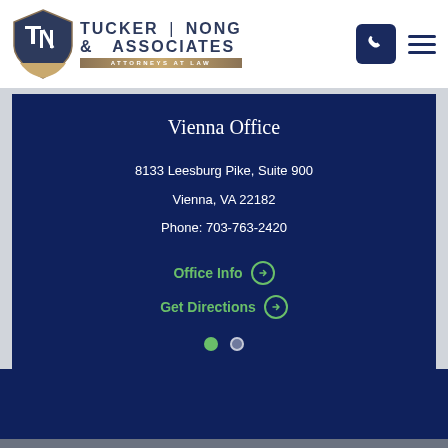[Figure (logo): Tucker Nong & Associates Attorneys at Law logo with shield emblem]
Vienna Office
8133 Leesburg Pike, Suite 900
Vienna, VA 22182
Phone: 703-763-2420
Office Info
Get Directions